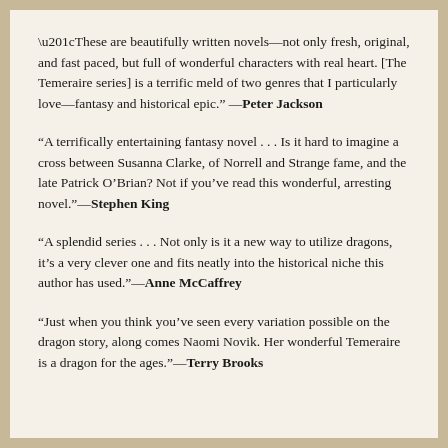“These are beautifully written novels—not only fresh, original, and fast paced, but full of wonderful characters with real heart. [The Temeraire series] is a terrific meld of two genres that I particularly love—fantasy and historical epic.” —Peter Jackson
“A terrifically entertaining fantasy novel . . . Is it hard to imagine a cross between Susanna Clarke, of Norrell and Strange fame, and the late Patrick O’Brian? Not if you’ve read this wonderful, arresting novel.” —Stephen King
“A splendid series . . . Not only is it a new way to utilize dragons, it’s a very clever one and fits neatly into the historical niche this author has used.” —Anne McCaffrey
“Just when you think you’ve seen every variation possible on the dragon story, along comes Naomi Novik. Her wonderful Temeraire is a dragon for the ages.” —Terry Brooks